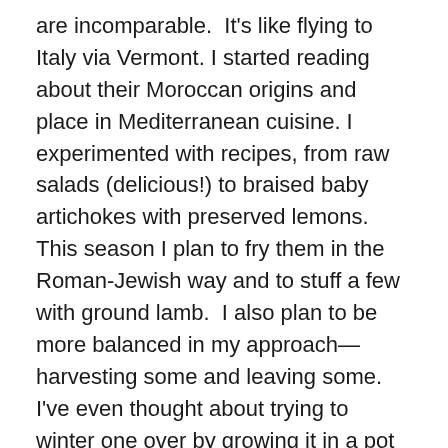are incomparable.  It's like flying to Italy via Vermont. I started reading about their Moroccan origins and place in Mediterranean cuisine. I experimented with recipes, from raw salads (delicious!) to braised baby artichokes with preserved lemons. This season I plan to fry them in the Roman-Jewish way and to stuff a few with ground lamb.  I also plan to be more balanced in my approach—harvesting some and leaving some. I've even thought about trying to winter one over by growing it in a pot and hauling it in come fall the way I do with rosemary, geraniums, fuschia and figs.
I'm planting artichokes today–from seed. They'll take 95 days to reach maturitywhich means I'll be lowering the first ones into the sauté pan round about mid-July. Until then, I'll gladly head to town in search of those plump buds that herald the arrival of spring as surely as a red winged